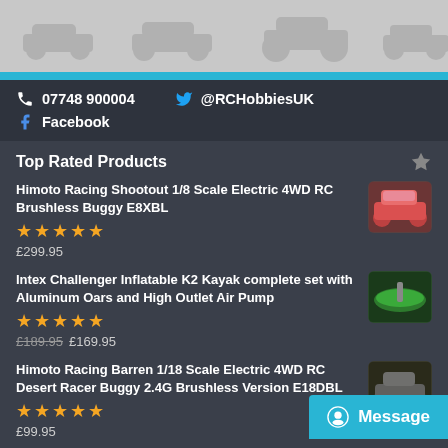[Figure (illustration): Grey banner with RC car silhouettes]
07748 900004   @RCHobbiesUK   Facebook
Top Rated Products
Himoto Racing Shootout 1/8 Scale Electric 4WD RC Brushless Buggy E8XBL — ★★★★★ — £299.95
Intex Challenger Inflatable K2 Kayak complete set with Aluminum Oars and High Outlet Air Pump — ★★★★★ — £189.95  £169.95
Himoto Racing Barren 1/18 Scale Electric 4WD RC Desert Racer Buggy 2.4G Brushless Version E18DBL — ★★★★★ — £99.95